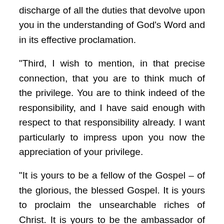discharge of all the duties that devolve upon you in the understanding of God's Word and in its effective proclamation.
“Third, I wish to mention, in that precise connection, that you are to think much of the privilege. You are to think indeed of the responsibility, and I have said enough with respect to that responsibility already. I want particularly to impress upon you now the appreciation of your privilege.
“It is yours to be a fellow of the Gospel – of the glorious, the blessed Gospel. It is yours to proclaim the unsearchable riches of Christ. It is yours to be the ambassador of the King eternal, immortal, invincible. It is yours to be the ambassador of him who is the King of Kings and the Lord of Lords, of whom you have heard already that He walks among the candlesticks. There is no